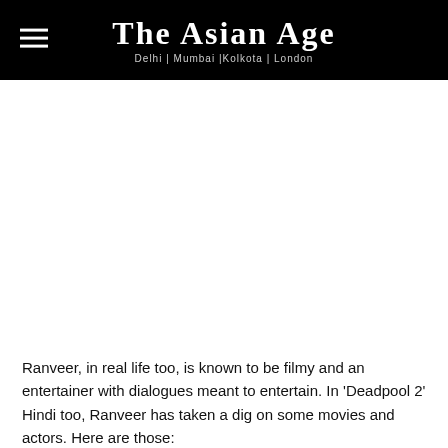THE ASIAN AGE — Delhi | Mumbai |Kolkota | London
Ranveer, in real life too, is known to be filmy and an entertainer with dialogues meant to entertain. In 'Deadpool 2' Hindi too, Ranveer has taken a dig on some movies and actors. Here are those:
Bajirao Mastani
Padmaavat
Goliyon Ki Rasleela: Ram-Leela